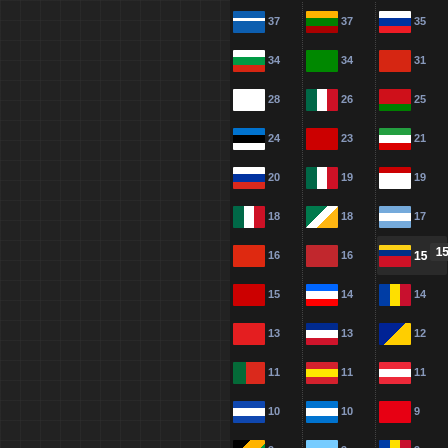[Figure (infographic): Three-column list of country flags with numeric values, displayed on a dark background. Values range from 37 down to 2. Left panel shows a dark grid. A tooltip highlight box shows '15' for one entry in the third column.]